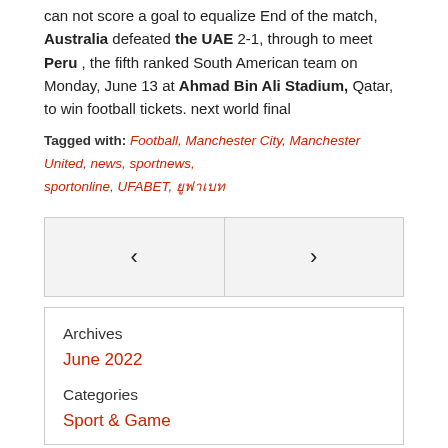can not score a goal to equalize End of the match, Australia defeated the UAE 2-1, through to meet Peru , the fifth ranked South American team on Monday, June 13 at Ahmad Bin Ali Stadium, Qatar, to win football tickets. next world final
Tagged with: Football, Manchester City, Manchester United, news, sportnews, sportonline, UFABET, ยูฟาเบท
[Figure (other): Navigation block with left and right arrow buttons side by side]
Archives
June 2022
Categories
Sport & Game